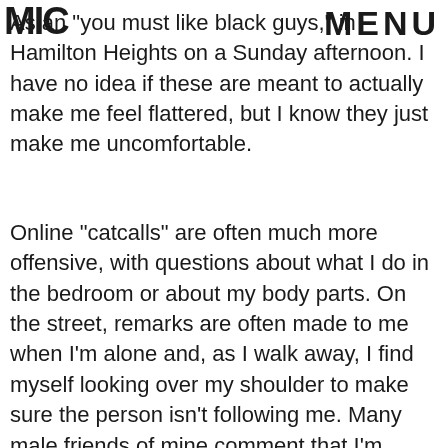MIC | MENU
As an "you must like black guys," in Hamilton Heights on a Sunday afternoon. I have no idea if these are meant to actually make me feel flattered, but I know they just make me uncomfortable.
Online "catcalls" are often much more offensive, with questions about what I do in the bedroom or about my body parts. On the street, remarks are often made to me when I'm alone and, as I walk away, I find myself looking over my shoulder to make sure the person isn't following me. Many male friends of mine comment that I'm being silly for feeling this way, but unless you have been stalked by a man in his car while you're walking along a deserted street at night, you